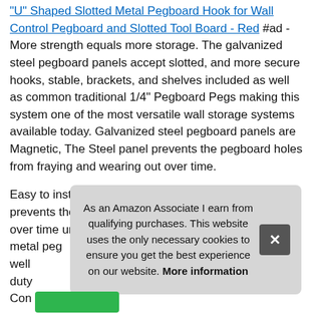"U" Shaped Slotted Metal Pegboard Hook for Wall Control Pegboard and Slotted Tool Board - Red #ad - More strength equals more storage. The galvanized steel pegboard panels accept slotted, and more secure hooks, stable, brackets, and shelves included as well as common traditional 1/4" Pegboard Pegs making this system one of the most versatile wall storage systems available today. Galvanized steel pegboard panels are Magnetic, The Steel panel prevents the pegboard holes from fraying and wearing out over time.
Easy to install. Metal toolboard accessory construction prevents the tool hooks from fraying and wearing out over time unlike plastic pegboard accessories. Slotted metal peg well duty Con
As an Amazon Associate I earn from qualifying purchases. This website uses the only necessary cookies to ensure you get the best experience on our website. More information